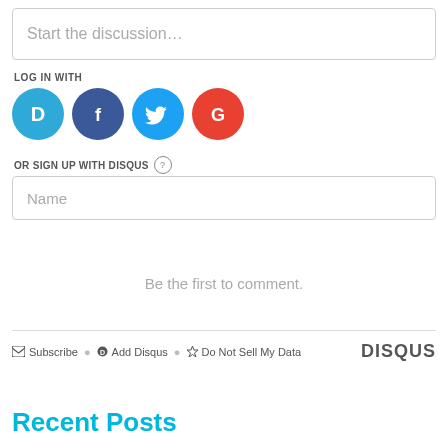Start the discussion…
LOG IN WITH
[Figure (illustration): Social login icons: Disqus (D, blue circle), Facebook (f, dark blue circle), Twitter (bird, light blue circle), Google (G, red circle)]
OR SIGN UP WITH DISQUS ?
Name
Be the first to comment.
Subscribe  Add Disqus  Do Not Sell My Data  DISQUS
Recent Posts